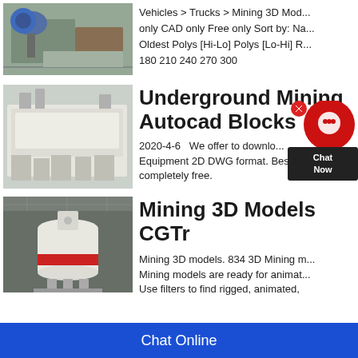[Figure (photo): Mining equipment photo - blue motor/pump on industrial frame]
Vehicles > Trucks > Mining 3D Mod... only CAD only Free only Sort by: Na... Oldest Polys [Hi-Lo] Polys [Lo-Hi] R... 180 210 240 270 300
[Figure (photo): Large white industrial mining/screening machine outdoors]
Underground Mining Autocad Blocks
2020-4-6   We offer to downlo... Equipment 2D DWG format. Best li... completely free.
[Figure (photo): White and red vertical shaft impact crusher in a factory/warehouse setting]
Mining 3D Models CGTr
Mining 3D models. 834 3D Mining m... Mining models are ready for animat... Use filters to find rigged, animated,
[Figure (other): Chat Now popup widget - red circle with chat icon, dark arrow pointing left, 'Chat Now' text]
Chat Online